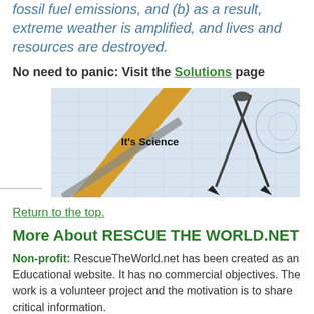fossil fuel emissions, and (b) as a result, extreme weather is amplified, and lives and resources are destroyed.
No need to panic: Visit the Solutions page
[Figure (photo): Photo of drafting/engineering tools including a compass, pencil, and ruler on blueprint paper, with text overlay 'It's Science']
Return to the top.
More About RESCUE THE WORLD.NET
Non-profit: RescueTheWorld.net has been created as an Educational website. It has no commercial objectives. The work is a volunteer project and the motivation is to share critical information.